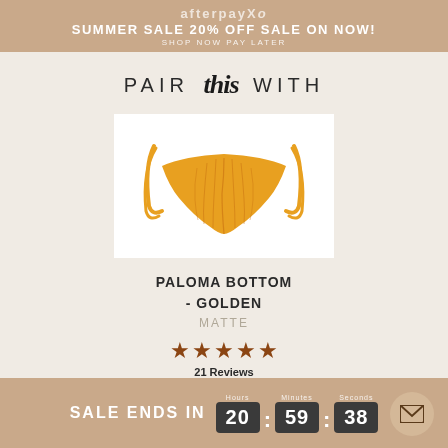afterpayXo SUMMER SALE 20% OFF SALE ON NOW! SHOP NOW PAY LATER
PAIR this WITH
[Figure (photo): Orange/golden ruched string bikini bottom on white background]
PALOMA BOTTOM - GOLDEN
MATTE
[Figure (other): 5 brown star rating icons]
21 Reviews
SALE ENDS IN 20:59:38